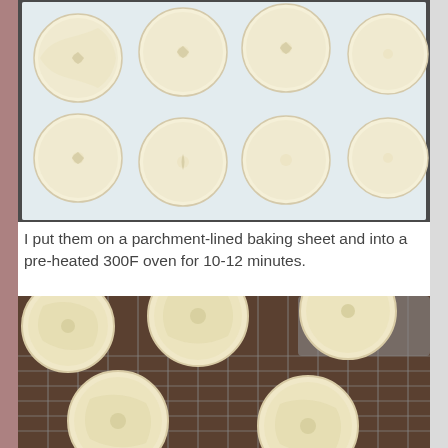[Figure (photo): Round decorated shortbread cookies with floral embossed patterns arranged on a parchment-lined baking sheet, unbaked, pale yellow dough with scalloped edges.]
I put them on a parchment-lined baking sheet and into a pre-heated 300F oven for 10-12 minutes.
[Figure (photo): Baked round embossed shortbread cookies on a wire cooling rack, golden-pale color, with a rolling pin and baking pan visible in the background.]